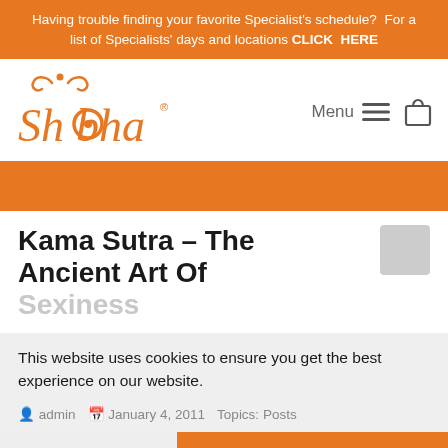Having trouble finding your favorite Specialist's schedule?  For a list of Specialists' days and locations CLICK  HERE
[Figure (logo): Shobha brand logo in orange with decorative swirl above the text]
Menu
[Figure (other): Orange decorative bar / section divider]
Kama Sutra – The Ancient Art Of Sexiness
admin   January 4, 2011   Topics: Posts
This website uses cookies to ensure you get the best experience on our website.
Refuse Cookies   Allow Cookies
Way before Cosmo & Maxim came around, people had very few options when looking for sexual